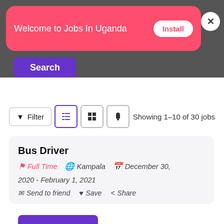[Figure (screenshot): Pink app install banner reading 'Welcome to Jobs In Uganda' with an Install button and a close X button on dark background]
Search
Filter   Showing 1–10 of 30 jobs
Bus Driver
Full Time   Kampala   December 30, 2020 - February 1, 2021
Send to friend   Save   Share